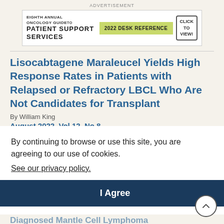[Figure (other): Advertisement banner for Eighth Annual Oncology Guide to Patient Support Services, 2022 Desk Reference]
Lisocabtagene Maraleucel Yields High Response Rates in Patients with Relapsed or Refractory LBCL Who Are Not Candidates for Transplant
By William King
August 2022, Vol 12, No 8
ASCO 2022 HIGHLIGHTS
By continuing to browse or use this site, you are agreeing to our use of cookies.
See our privacy policy.
I Agree
Improved PFS in Older Patients with Newly Diagnosed Mantle Cell Lymphoma